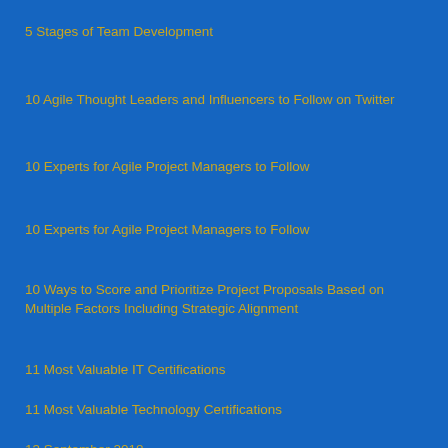5 Stages of Team Development
10 Agile Thought Leaders and Influencers to Follow on Twitter
10 Experts for Agile Project Managers to Follow
10 Experts for Agile Project Managers to Follow
10 Ways to Score and Prioritize Project Proposals Based on Multiple Factors Including Strategic Alignment
11 Most Valuable IT Certifications
11 Most Valuable Technology Certifications
13 September 2018
13-15 May 2019